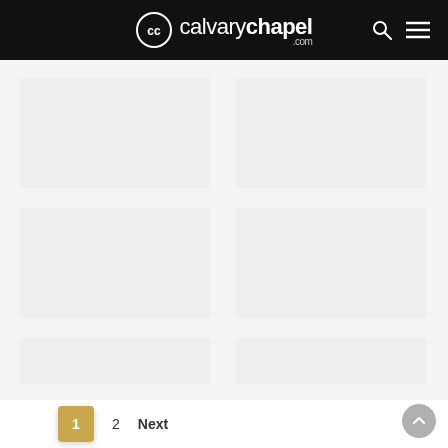calvarychapel.com
[Figure (screenshot): Website content area with faint card placeholders on light gray background]
1  2  Next